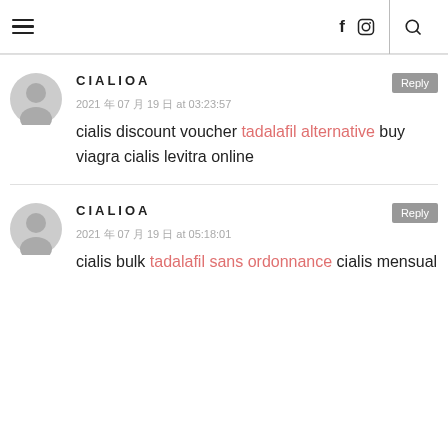≡  f  🅸  🔍
CIALIOA
2021 年 07 月 19 日 at 03:23:57
cialis discount voucher tadalafil alternative buy viagra cialis levitra online
CIALIOA
2021 年 07 月 19 日 at 05:18:01
cialis bulk tadalafil sans ordonnance cialis mensual